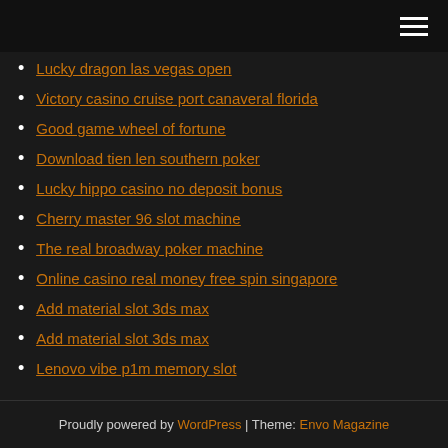Navigation menu
Lucky dragon las vegas open
Victory casino cruise port canaveral florida
Good game wheel of fortune
Download tien len southern poker
Lucky hippo casino no deposit bonus
Cherry master 96 slot machine
The real broadway poker machine
Online casino real money free spin singapore
Add material slot 3ds max
Add material slot 3ds max
Lenovo vibe p1m memory slot
Proudly powered by WordPress | Theme: Envo Magazine